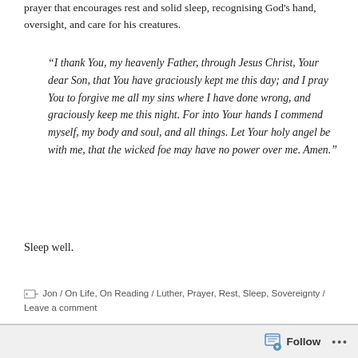prayer that encourages rest and solid sleep, recognising God's hand, oversight, and care for his creatures.
“I thank You, my heavenly Father, through Jesus Christ, Your dear Son, that You have graciously kept me this day; and I pray You to forgive me all my sins where I have done wrong, and graciously keep me this night. For into Your hands I commend myself, my body and soul, and all things. Let Your holy angel be with me, that the wicked foe may have no power over me. Amen.”
Sleep well.
Jon / On Life, On Reading / Luther, Prayer, Rest, Sleep, Sovereignty / Leave a comment
Follow ...